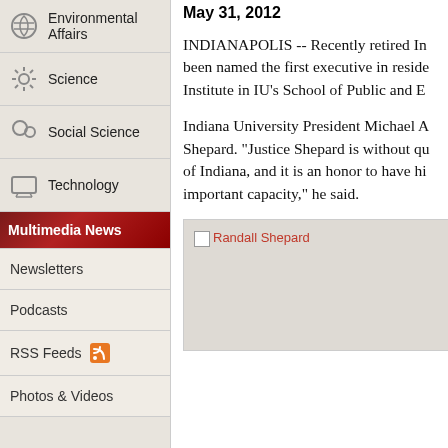Environmental Affairs
Science
Social Science
Technology
Multimedia News
Newsletters
Podcasts
RSS Feeds
Photos & Videos
May 31, 2012
INDIANAPOLIS -- Recently retired In been named the first executive in reside Institute in IU's School of Public and E
Indiana University President Michael A Shepard. "Justice Shepard is without qu of Indiana, and it is an honor to have hi important capacity," he said.
[Figure (photo): Randall Shepard - image placeholder with broken image icon and red alt text]